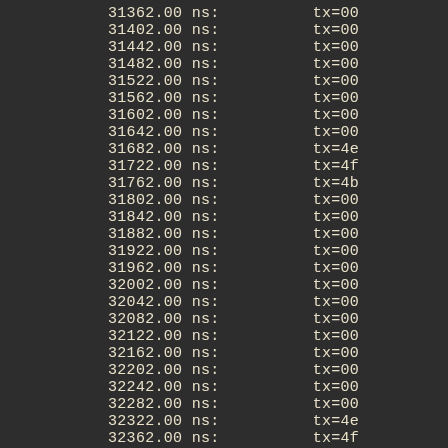31362.00 ns:  tx=00
31402.00 ns:  tx=00
31442.00 ns:  tx=00
31482.00 ns:  tx=00
31522.00 ns:  tx=00
31562.00 ns:  tx=00
31602.00 ns:  tx=00
31642.00 ns:  tx=00
31682.00 ns:  tx=4e
31722.00 ns:  tx=4f
31762.00 ns:  tx=4b
31802.00 ns:  tx=00
31842.00 ns:  tx=00
31882.00 ns:  tx=00
31922.00 ns:  tx=00
31962.00 ns:  tx=00
32002.00 ns:  tx=00
32042.00 ns:  tx=00
32082.00 ns:  tx=00
32122.00 ns:  tx=00
32162.00 ns:  tx=00
32202.00 ns:  tx=00
32242.00 ns:  tx=00
32282.00 ns:  tx=00
32322.00 ns:  tx=4e
32362.00 ns:  tx=4f
32402.00 ns:  tx=4b